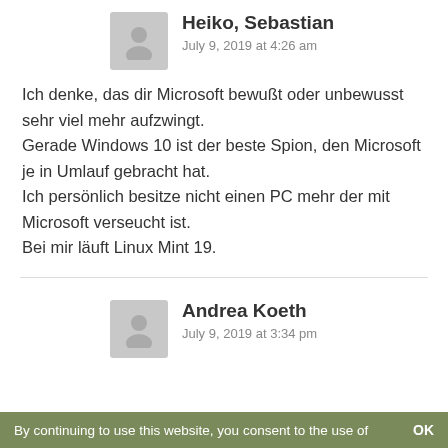[Figure (illustration): Gray avatar placeholder icon for user Heiko, Sebastian]
Heiko, Sebastian
July 9, 2019 at 4:26 am
Ich denke, das dir Microsoft bewußt oder unbewusst sehr viel mehr aufzwingt.
Gerade Windows 10 ist der beste Spion, den Microsoft je in Umlauf gebracht hat.
Ich persönlich besitze nicht einen PC mehr der mit Microsoft verseucht ist.
Bei mir läuft Linux Mint 19.
[Figure (illustration): Gray avatar placeholder icon for user Andrea Koeth]
Andrea Koeth
July 9, 2019 at 3:34 pm
By continuing to use this website, you consent to the use of